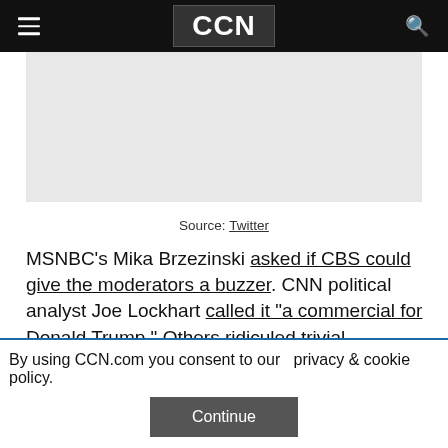CCN
[Figure (other): Advertisement placeholder box, light gray background]
Source: Twitter
MSNBC's Mika Brzezinski asked if CBS could give the moderators a buzzer. CNN political analyst Joe Lockhart called it "a commercial for Donald Trump." Others ridiculed trivial questions about soda bans and "what tree would you be"
By using CCN.com you consent to our  privacy & cookie policy.
Continue